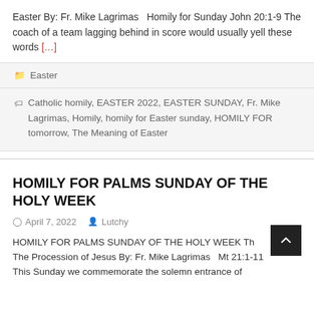Easter By: Fr. Mike Lagrimas  Homily for Sunday John 20:1-9 The coach of a team lagging behind in score would usually yell these words [...]
Easter
Catholic homily, EASTER 2022, EASTER SUNDAY, Fr. Mike Lagrimas, Homily, homily for Easter sunday, HOMILY FOR tomorrow, The Meaning of Easter
HOMILY FOR PALMS SUNDAY OF THE HOLY WEEK
April 7, 2022  Lutchy
HOMILY FOR PALMS SUNDAY OF THE HOLY WEEK  The Procession of Jesus By: Fr. Mike Lagrimas  Mt 21:1-11 This Sunday we commemorate the solemn entrance of